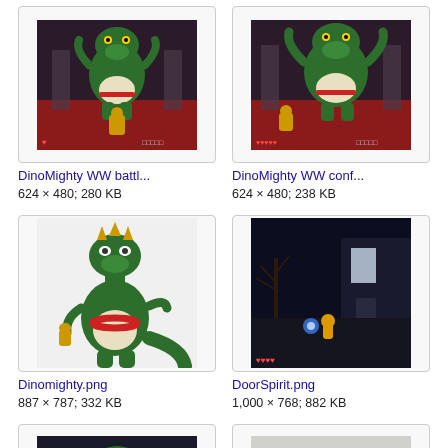[Figure (screenshot): DinoMighty WW battle screenshot - green dinosaur character in battle scene with dark red floor]
DinoMighty WW battl...
624 × 480; 280 KB
[Figure (screenshot): DinoMighty WW conf screenshot - green dinosaur character in confrontation scene]
DinoMighty WW conf...
624 × 480; 238 KB
[Figure (illustration): Dinomighty.png - 3D render of green dinosaur character with red belly band, standing pose, transparent background]
Dinomighty.png
887 × 787; 332 KB
[Figure (screenshot): DoorSpirit.png - dark night scene with small yellow character near a building entrance with a blue light]
DoorSpirit.png
1,000 × 768; 882 KB
[Figure (screenshot): Partial thumbnail of another screenshot at bottom left]
[Figure (photo): Partial thumbnail of another image at bottom right]